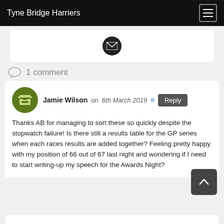Tyne Bridge Harriers
[Figure (illustration): Email envelope icon in a dark circle, inside a white card]
1 comment
Jamie Wilson on 6th March 2019 # Reply
Thanks AB for managing to sort these so quickly despite the stopwatch failure! Is there still a results table for the GP series when each races results are added together? Feeling pretty happy with my position of 66 out of 67 last night and wondering if I need to start writing-up my speech for the Awards Night?